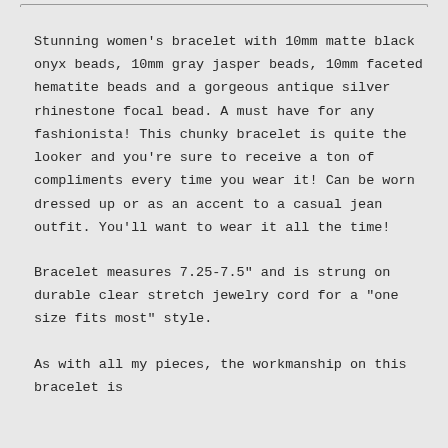Stunning women's bracelet with 10mm matte black onyx beads, 10mm gray jasper beads, 10mm faceted hematite beads and a gorgeous antique silver rhinestone focal bead. A must have for any fashionista! This chunky bracelet is quite the looker and you're sure to receive a ton of compliments every time you wear it! Can be worn dressed up or as an accent to a casual jean outfit. You'll want to wear it all the time!
Bracelet measures 7.25-7.5" and is strung on durable clear stretch jewelry cord for a "one size fits most" style.
As with all my pieces, the workmanship on this bracelet is guaranteed for your lifetime.